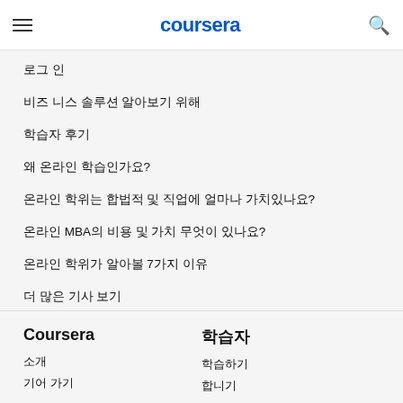coursera
로그 인
비즈 니스 솔루션 알아보기 위해
학습자 후기
왜 온라인 학습인가요?
온라인 학위는 합법적 및 직업에 얼마나 가치있나요?
온라인 MBA의 비용 및 가치 무엇이 있나요?
온라인 학위가 알아볼 7가지 이유
더 많은 기사 보기
Coursera
학습자
소개
학습하기